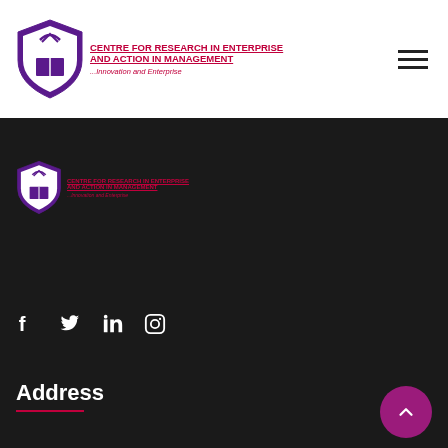[Figure (logo): CREM shield logo with purple and white design, topped with a checkmark and open book]
CENTRE FOR RESEARCH IN ENTERPRISE AND ACTION IN MANAGEMENT
...Innovation and Enterprise
[Figure (illustration): Hamburger menu icon (three horizontal lines)]
[Figure (logo): CREM shield logo (smaller version in footer)]
CENTRE FOR RESEARCH IN ENTERPRISE AND ACTION IN MANAGEMENT
...Innovation and Enterprise
[Figure (illustration): Social media icons: Facebook, Twitter, LinkedIn, Instagram]
Address